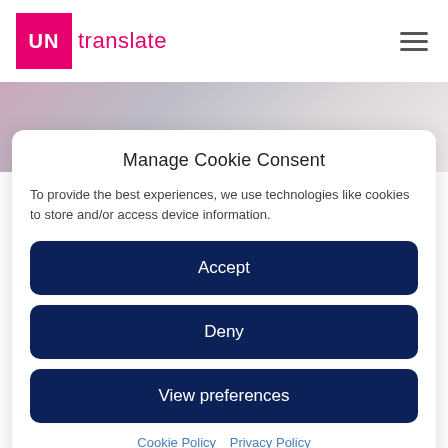UN translate
[Figure (photo): Blurred abstract hero image with pink and grey tones]
Manage Cookie Consent
To provide the best experiences, we use technologies like cookies to store and/or access device information.
Accept
Deny
View preferences
Cookie Policy   Privacy Policy